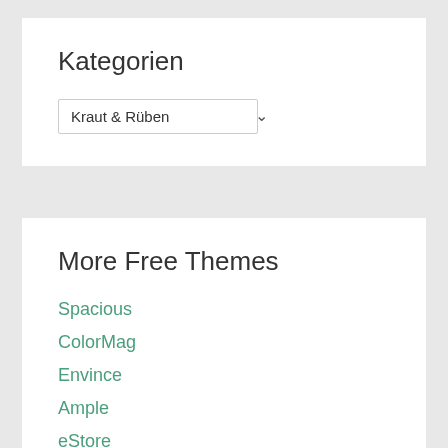Kategorien
Kraut & Rüben
More Free Themes
Spacious
ColorMag
Envince
Ample
eStore